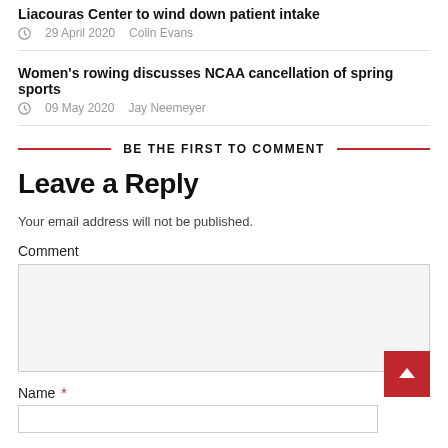Liacouras Center to wind down patient intake
29 April 2020   Colin Evans
Women's rowing discusses NCAA cancellation of spring sports
09 May 2020   Jay Neemeyer
BE THE FIRST TO COMMENT
Leave a Reply
Your email address will not be published.
Comment
Name *